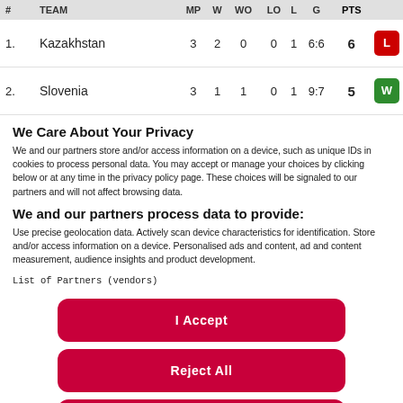| # | TEAM | MP | W | WO | LO | L | G | PTS |  |
| --- | --- | --- | --- | --- | --- | --- | --- | --- | --- |
| 1. | Kazakhstan | 3 | 2 | 0 | 0 | 1 | 6:6 | 6 | L |
| 2. | Slovenia | 3 | 1 | 1 | 0 | 1 | 9:7 | 5 | W |
We Care About Your Privacy
We and our partners store and/or access information on a device, such as unique IDs in cookies to process personal data. You may accept or manage your choices by clicking below or at any time in the privacy policy page. These choices will be signaled to our partners and will not affect browsing data.
We and our partners process data to provide:
Use precise geolocation data. Actively scan device characteristics for identification. Store and/or access information on a device. Personalised ads and content, ad and content measurement, audience insights and product development.
List of Partners (vendors)
I Accept
Reject All
Show Purposes